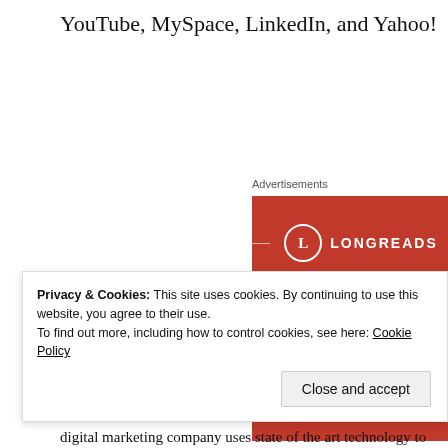YouTube, MySpace, LinkedIn, and Yahoo!
[Figure (screenshot): Longreads advertisement banner with red background. Shows the Longreads logo (circle with L), tagline 'The best stories on the web – ours, and everyone else's.' and a 'Start reading' button.]
Advertisements
Privacy & Cookies: This site uses cookies. By continuing to use this website, you agree to their use.
To find out more, including how to control cookies, see here: Cookie Policy
digital marketing company uses state of the art technology to